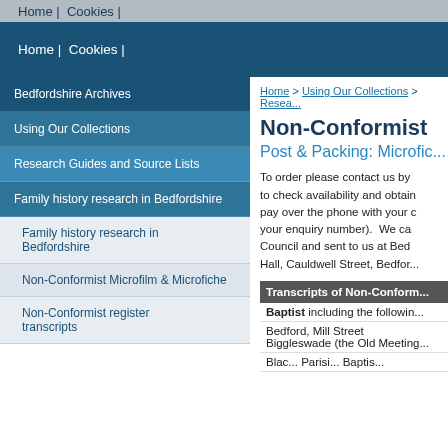Home | Cookies |
Bedfordshire Archives
Using Our Collections
Research Guides and Source Lists
Family history research in Bedfordshire
Family history research in Bedfordshire
Non-Conformist Microfilm & Microfiche
Non-Conformist register transcripts
Home > Using Our Collections > Resea...
Non-Conformist
Post & Packing: Microfic...
To order please contact us by ... to check availability and obtain ... pay over the phone with your ... your enquiry number). We ca... Council and sent to us at Bed... Hall, Cauldwell Street, Bedfor...
| Transcripts of Non-Conform... |
| --- |
| Baptist including the followin... |
| Bedford, Mill Street |
| Biggleswade (the Old Meeting... |
| Blac... Parisi... Baptis... |